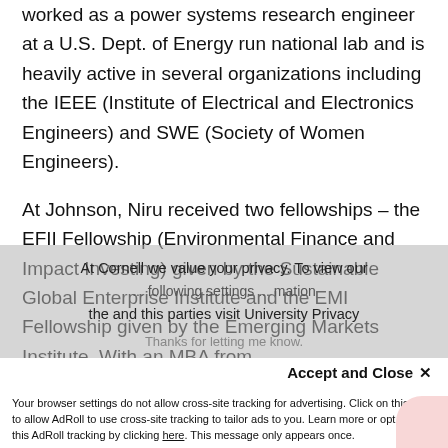worked as a power systems research engineer at a U.S. Dept. of Energy run national lab and is heavily active in several organizations including the IEEE (Institute of Electrical and Electronics Engineers) and SWE (Society of Women Engineers).
At Johnson, Niru received two fellowships – the EFII Fellowship (Environmental Finance and Impact Investing) given by the Sustainable Global Enterprise Institute and the EMI Fellowship given by the Emerging Markets Institute. With an MBA from
At Cornell we value your privacy. To view our ... the and this parties visit University Privacy...
Thanks for letting me know.
Accept and Close ✕
Your browser settings do not allow cross-site tracking for advertising. Click on this page to allow AdRoll to use cross-site tracking to tailor ads to you. Learn more or opt out of this AdRoll tracking by clicking here. This message only appears once.
herself focusing on energy and rural electricity...